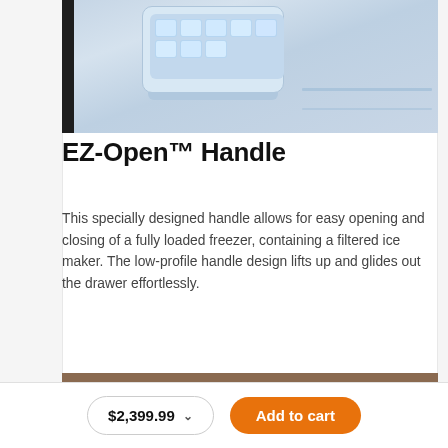[Figure (photo): Close-up of a refrigerator freezer interior showing an ice maker/ice storage bin with ice cubes, and interior shelving with light blue/white color scheme]
EZ-Open™ Handle
This specially designed handle allows for easy opening and closing of a fully loaded freezer, containing a filtered ice maker. The low-profile handle design lifts up and glides out the drawer effortlessly.
[Figure (photo): Lower portion of a dark stainless steel refrigerator with a person's hand/arm reaching toward the freezer drawer handle]
$2,399.99  Add to cart